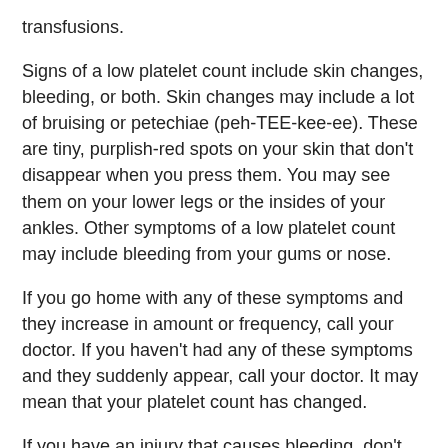transfusions.
Signs of a low platelet count include skin changes, bleeding, or both. Skin changes may include a lot of bruising or petechiae (peh-TEE-kee-ee). These are tiny, purplish-red spots on your skin that don't disappear when you press them. You may see them on your lower legs or the insides of your ankles. Other symptoms of a low platelet count may include bleeding from your gums or nose.
If you go home with any of these symptoms and they increase in amount or frequency, call your doctor. If you haven't had any of these symptoms and they suddenly appear, call your doctor. It may mean that your platelet count has changed.
If you have an injury that causes bleeding, don't panic. Stay calm and follow the guidelines below